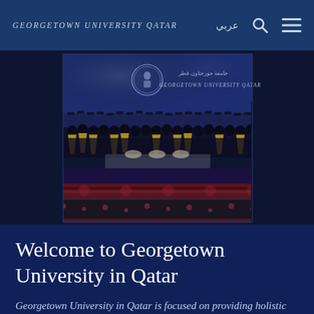GEORGETOWN UNIVERSITY QATAR
[Figure (photo): Group graduation photo at Georgetown University Qatar ceremony with graduates in black robes and yellow stoles standing in rows on a stage, with a dark blue backdrop showing the Georgetown University Qatar logo and Arabic text.]
Welcome to Georgetown University in Qatar
Georgetown University in Qatar is focused on providing holistic education through